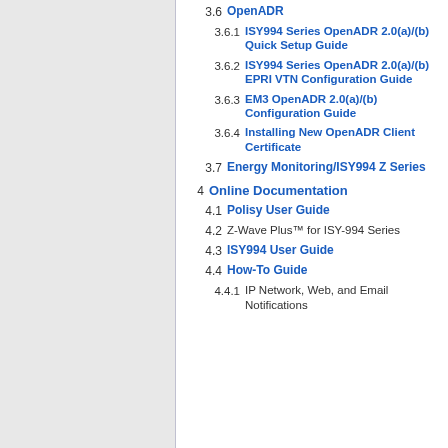3.6 OpenADR
3.6.1 ISY994 Series OpenADR 2.0(a)/(b) Quick Setup Guide
3.6.2 ISY994 Series OpenADR 2.0(a)/(b) EPRI VTN Configuration Guide
3.6.3 EM3 OpenADR 2.0(a)/(b) Configuration Guide
3.6.4 Installing New OpenADR Client Certificate
3.7 Energy Monitoring/ISY994 Z Series
4 Online Documentation
4.1 Polisy User Guide
4.2 Z-Wave Plus™ for ISY-994 Series
4.3 ISY994 User Guide
4.4 How-To Guide
4.4.1 IP Network, Web, and Email Notifications